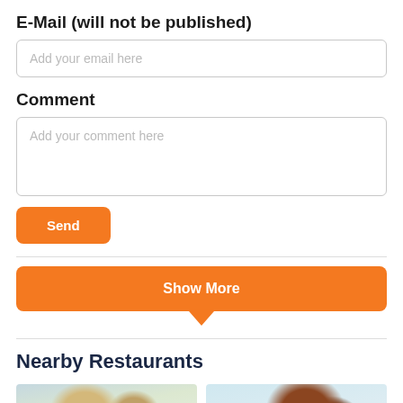E-Mail (will not be published)
Add your email here
Comment
Add your comment here
Send
Show More
Nearby Restaurants
[Figure (photo): Two food photos side by side showing restaurant dishes, partially visible at the bottom of the page]